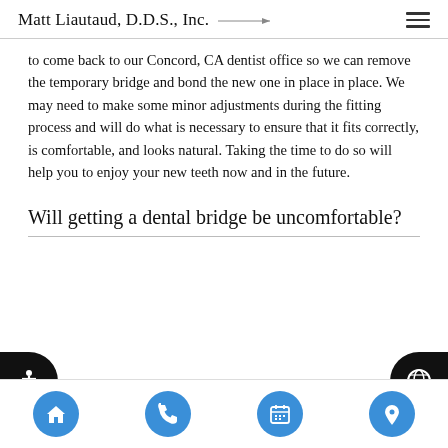Matt Liautaud, D.D.S., Inc.
to come back to our Concord, CA dentist office so we can remove the temporary bridge and bond the new one in place in place. We may need to make some minor adjustments during the fitting process and will do what is necessary to ensure that it fits correctly, is comfortable, and looks natural. Taking the time to do so will help you to enjoy your new teeth now and in the future.
Will getting a dental bridge be uncomfortable?